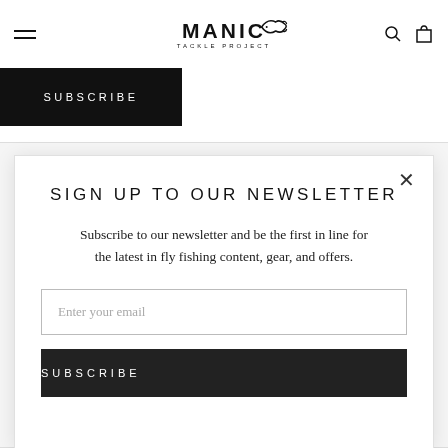MANIC TACKLE PROJECT — navigation header with hamburger menu, logo, search and cart icons
SUBSCRIBE
SIGN UP TO OUR NEWSLETTER
Subscribe to our newsletter and be the first in line for the latest in fly fishing content, gear, and offers.
Enter your email
SUBSCRIBE